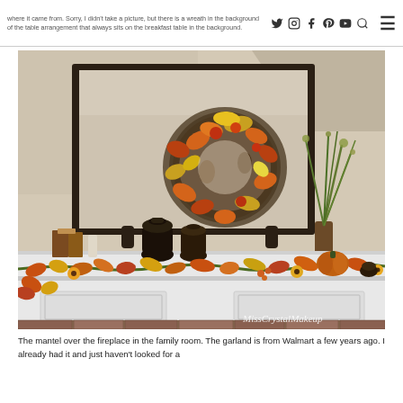where it came from. Sorry, I didn't take a picture, but there is a wreath in the background of the table arrangement that always sits on the breakfast table in the background.
[Figure (photo): A decorated fireplace mantel with a fall/autumn theme. A large dark-framed mirror hangs above the white mantel. A colorful fall wreath with orange, yellow, and red leaves, pinecones, and berries is placed in front of the mirror. The mantel is decorated with fall garland featuring autumn leaves and sunflowers, dark decorative urns, stacked books, a pumpkin, and a vase with greenery on the right side. A watermark reads 'MissCrystalMakeup' in the lower right corner.]
The mantel over the fireplace in the family room. The garland is from Walmart a few years ago. I already had it and just haven't looked for a